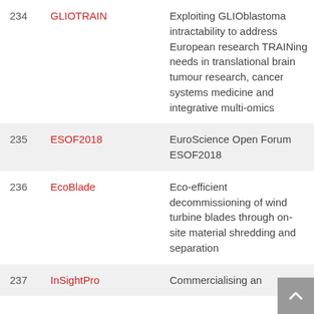| # | Name | Description |
| --- | --- | --- |
| 234 | GLIOTRAIN | Exploiting GLIОblastoma intractability to address European research TRAINing needs in translational brain tumour research, cancer systems medicine and integrative multi-omics |
| 235 | ESOF2018 | EuroScience Open Forum ESOF2018 |
| 236 | EcoBlade | Eco-efficient decommissioning of wind turbine blades through on-site material shredding and separation |
| 237 | InSightPro | Commercialising an |